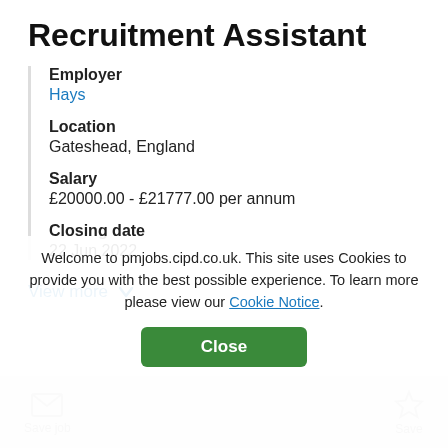Recruitment Assistant
Employer
Hays
Location
Gateshead, England
Salary
£20000.00 - £21777.00 per annum
Closing date
22 Jun 2022
View more
Welcome to pmjobs.cipd.co.uk. This site uses Cookies to provide you with the best possible experience. To learn more please view our Cookie Notice.
Close